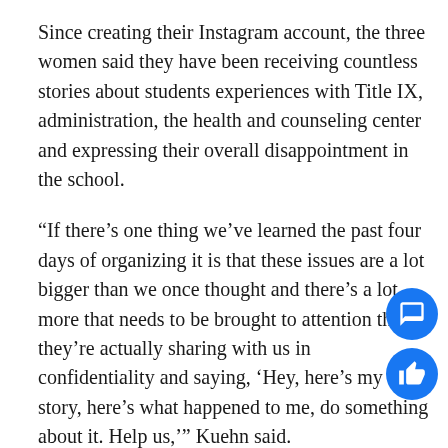Since creating their Instagram account, the three women said they have been receiving countless stories about students experiences with Title IX, administration, the health and counseling center and expressing their overall disappointment in the school.
“If there’s one thing we’ve learned the past four days of organizing it is that these issues are a lot bigger than we once thought and there’s a lot more that needs to be brought to attention that they’re actually sharing with us in confidentiality and saying, ‘Hey, here’s my story, here’s what happened to me, do something about it. Help us,’” Kuehn said.
Leading up to the Friday event, the three freshmen made sure to learn their rights, where they could practice their rights to free speech and did their b…